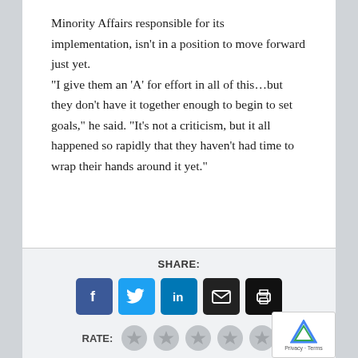Minority Affairs responsible for its implementation, isn't in a position to move forward just yet.
“I give them an ‘A’ for effort in all of this…but they don’t have it together enough to begin to set goals,” he said. “It’s not a criticism, but it all happened so rapidly that they haven’t had time to wrap their hands around it yet.”
SHARE:
[Figure (infographic): Social share buttons: Facebook, Twitter, LinkedIn, Email, Print]
RATE:
[Figure (infographic): Five star rating circles, all empty/grey]